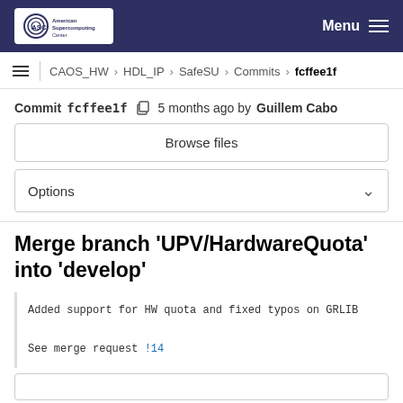ASC American Supercomputing Center — Menu
CAOS_HW › HDL_IP › SafeSU › Commits › fcffee1f
Commit fcffee1f  5 months ago by Guillem Cabo
Browse files
Options
Merge branch 'UPV/HardwareQuota' into 'develop'
Added support for HW quota and fixed typos on GRLIB

See merge request !14